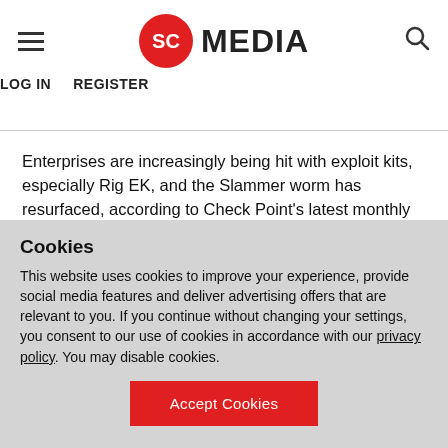SC MEDIA | LOG IN  REGISTER
Enterprises are increasingly being hit with exploit kits, especially Rig EK, and the Slammer worm has resurfaced, according to Check Point's latest monthly Global Threat Impact Index.
After a lull, Slammer has wormed its way back into Check Point's list of the top three malware families, affecting four
Cookies
This website uses cookies to improve your experience, provide social media features and deliver advertising offers that are relevant to you. If you continue without changing your settings, you consent to our use of cookies in accordance with our privacy policy. You may disable cookies.